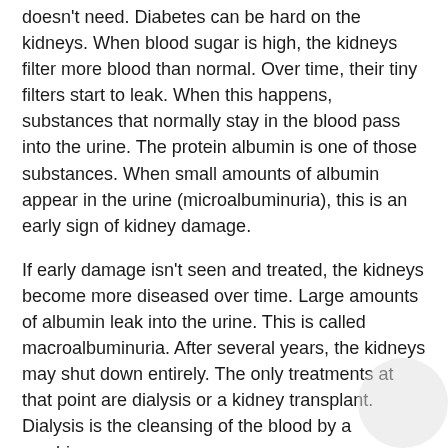doesn't need. Diabetes can be hard on the kidneys. When blood sugar is high, the kidneys filter more blood than normal. Over time, their tiny filters start to leak. When this happens, substances that normally stay in the blood pass into the urine. The protein albumin is one of those substances. When small amounts of albumin appear in the urine (microalbuminuria), this is an early sign of kidney damage.
If early damage isn't seen and treated, the kidneys become more diseased over time. Large amounts of albumin leak into the urine. This is called macroalbuminuria. After several years, the kidneys may shut down entirely. The only treatments at that point are dialysis or a kidney transplant. Dialysis is the cleansing of the blood by a machine.
Microalbuminuria test
Early kidney disease has no symptoms, so you need a